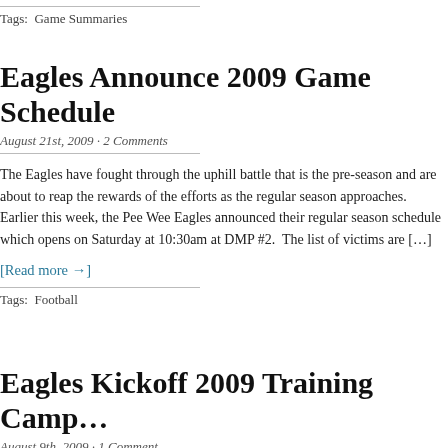Tags:  Game Summaries
Eagles Announce 2009 Game Schedule
August 21st, 2009 · 2 Comments
The Eagles have fought through the uphill battle that is the pre-season and are about to reap the rewards of the efforts as the regular season approaches.  Earlier this week, the Pee Wee Eagles announced their regular season schedule which opens on Saturday at 10:30am at DMP #2.  The list of victims are […]
[Read more →]
Tags:  Football
Eagles Kickoff 2009 Training Camp…
August 9th, 2009 · 1 Comment